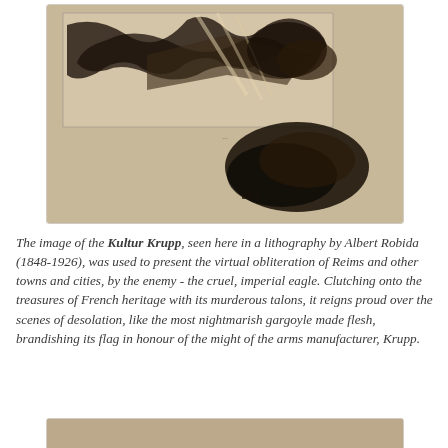[Figure (illustration): A sepia-toned lithography showing two panels: the upper panel depicts dramatic dark sweeping strokes suggesting destruction or chaos with an eagle-like figure; the lower panel shows a dark mass or cloud over a landscape. The work is by Albert Robida (1848-1926).]
The image of the Kultur Krupp, seen here in a lithography by Albert Robida (1848-1926), was used to present the virtual obliteration of Reims and other towns and cities, by the enemy - the cruel, imperial eagle. Clutching onto the treasures of French heritage with its murderous talons, it reigns proud over the scenes of desolation, like the most nightmarish gargoyle made flesh, brandishing its flag in honour of the might of the arms manufacturer, Krupp.
[Figure (photo): A partial view of another sepia-toned image, showing a hazy brownish-grey scene, possibly a landscape or another artwork, cropped at the bottom of the page.]